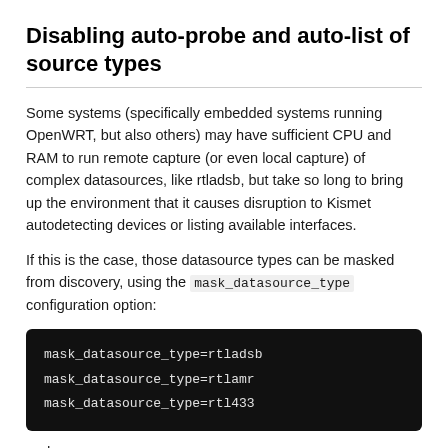Disabling auto-probe and auto-list of source types
Some systems (specifically embedded systems running OpenWRT, but also others) may have sufficient CPU and RAM to run remote capture (or even local capture) of complex datasources, like rtladsb, but take so long to bring up the environment that it causes disruption to Kismet autodetecting devices or listing available interfaces.
If this is the case, those datasource types can be masked from discovery, using the mask_datasource_type configuration option:
[Figure (screenshot): Code block showing three lines: mask_datasource_type=rtladsb, mask_datasource_type=rtlamr, mask_datasource_type=rtl433]
and so on.